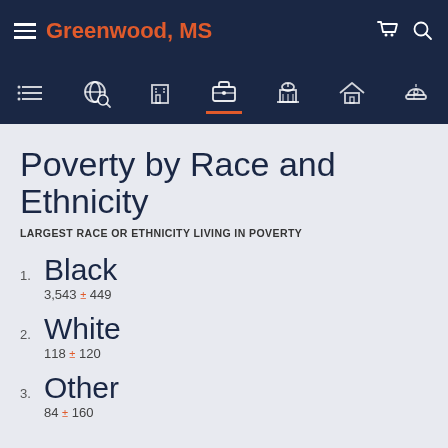Greenwood, MS
Poverty by Race and Ethnicity
LARGEST RACE OR ETHNICITY LIVING IN POVERTY
1. Black — 3,543 ± 449
2. White — 118 ± 120
3. Other — 84 ± 160